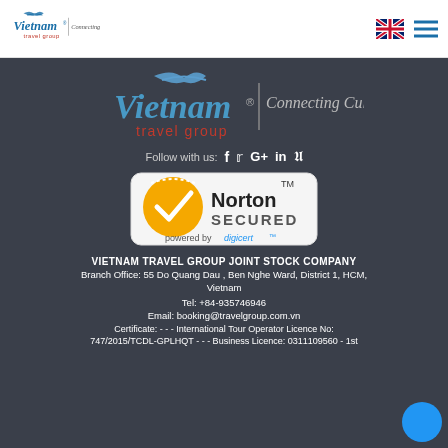Vietnam Travel Group — Connecting Cultures (navigation bar with flag icon and menu)
[Figure (logo): Vietnam Travel Group logo with 'Connecting Cultures' tagline on dark background]
Follow with us: f  twitter  G+  in  P
[Figure (logo): Norton Secured powered by digicert badge]
VIETNAM TRAVEL GROUP JOINT STOCK COMPANY
Branch Office: 55 Do Quang Dau , Ben Nghe Ward, District 1, HCM, Vietnam
Tel: +84-935746946
Email: booking@travelgroup.com.vn
Certificate: - - - International Tour Operator Licence No: 747/2015/TCDL-GPLHQT - - - Business Licence: 0311109560 - 1st